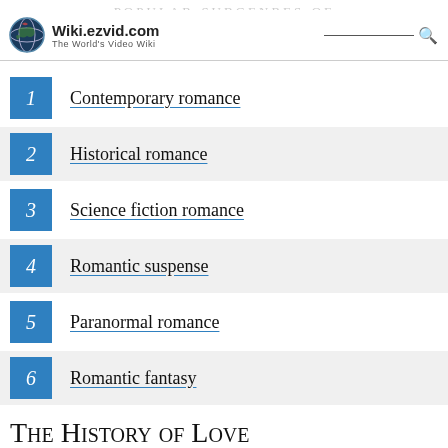Wiki.ezvid.com — The World's Video Wiki
1 Contemporary romance
2 Historical romance
3 Science fiction romance
4 Romantic suspense
5 Paranormal romance
6 Romantic fantasy
The History of Love